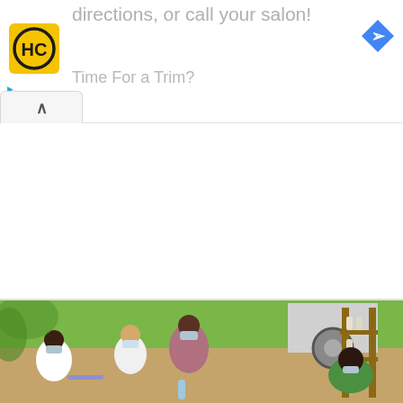[Figure (screenshot): Advertisement banner showing HC logo (yellow square with HC in black circle), text 'directions, or call your salon!' and 'Time For a Trim?' in gray, with a blue navigation/turn arrow icon on the right, and ad controls (play triangle and X) on the left side below the logo.]
[Figure (screenshot): Collapsed UI bar with an upward chevron arrow (^) on white/light gray background with rounded top corners.]
[Figure (photo): Outdoor group meeting scene with several people seated in a circle, wearing face masks. There is lush green vegetation in the background, a white vehicle/car wheel visible, and a wooden shelf or rack on the right side with bottles. One person in a pink/mauve top and mask stands/sits centrally, a woman with blonde hair in white sits to their left, a man in a white shirt and mask is on the far left, and a man in a green and orange top is on the right foreground with his back to the camera.]